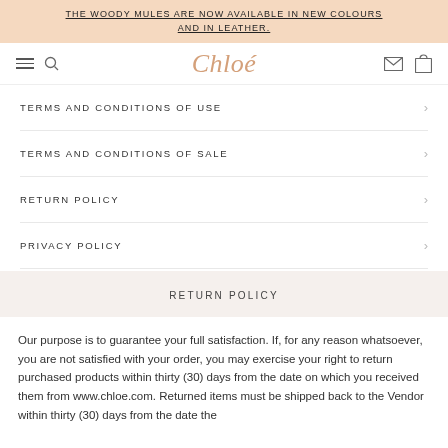THE WOODY MULES ARE NOW AVAILABLE IN NEW COLOURS AND IN LEATHER.
[Figure (logo): Chloé brand logo in italic serif font, peachy-gold color, centered in navigation bar with hamburger menu, search, mail, and bag icons]
TERMS AND CONDITIONS OF USE
TERMS AND CONDITIONS OF SALE
RETURN POLICY
PRIVACY POLICY
RETURN POLICY
Our purpose is to guarantee your full satisfaction. If, for any reason whatsoever, you are not satisfied with your order, you may exercise your right to return purchased products within thirty (30) days from the date on which you received them from www.chloe.com. Returned items must be shipped back to the Vendor within thirty (30) days from the date the